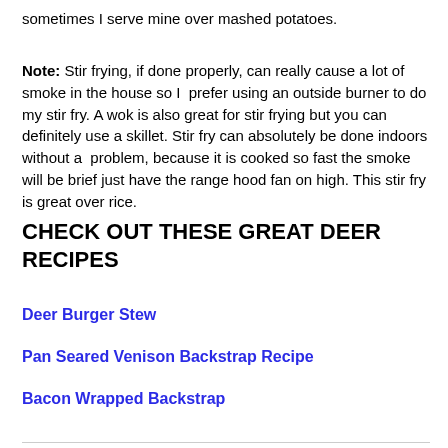sometimes I serve mine over mashed potatoes.
Note: Stir frying, if done properly, can really cause a lot of smoke in the house so I prefer using an outside burner to do my stir fry. A wok is also great for stir frying but you can definitely use a skillet. Stir fry can absolutely be done indoors without a problem, because it is cooked so fast the smoke will be brief just have the range hood fan on high. This stir fry is great over rice.
CHECK OUT THESE GREAT DEER RECIPES
Deer Burger Stew
Pan Seared Venison Backstrap Recipe
Bacon Wrapped Backstrap